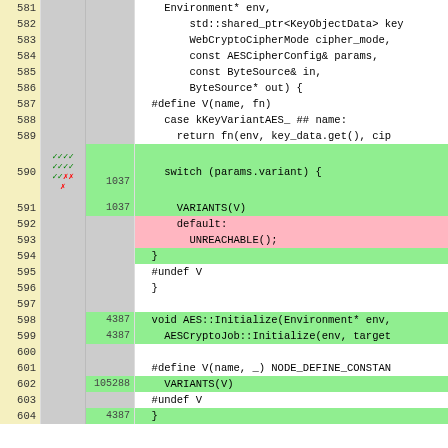[Figure (screenshot): Code coverage viewer showing C++ source lines 581-604 with line numbers, coverage markers (checkmarks/X), execution counts, and highlighted code regions (green=covered, pink=uncovered, gray=not instrumented). Shows AES cipher implementation code including switch statement, VARIANTS macro, UNREACHABLE(), and AES::Initialize function.]